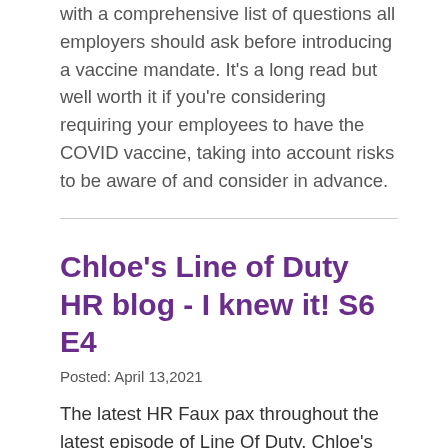with a comprehensive list of questions all employers should ask before introducing a vaccine mandate. It's a long read but well worth it if you're considering requiring your employees to have the COVID vaccine, taking into account risks to be aware of and consider in advance.
Chloe's Line of Duty HR blog - I knew it! S6 E4
Posted: April 13,2021
The latest HR Faux pax throughout the latest episode of Line Of Duty. Chloe's Line of Duty HR blog - I knew